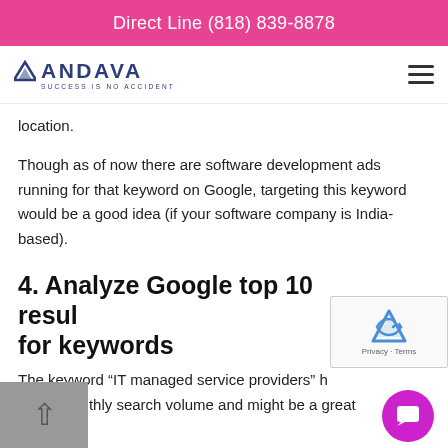Direct Line (818) 839-8878
[Figure (logo): Andava logo with triangle icon and tagline 'SUCCESS IS NO ACCIDENT']
location.
Though as of now there are software development ads running for that keyword on Google, targeting this keyword would be a good idea (if your software company is India-based).
4. Analyze Google top 10 results for keywords
The keyword “IT managed service providers” has 2,900 monthly search volume and might be a great